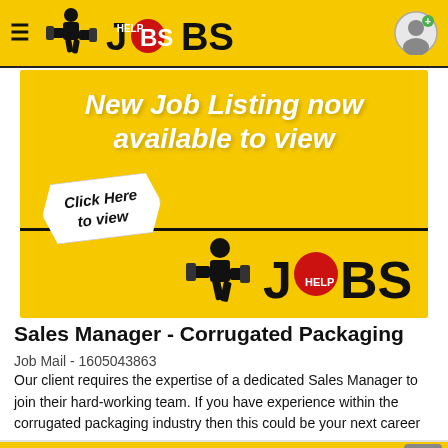HELP JOBS
[Figure (screenshot): Yellow banner with white bold italic text 'New Job Listing now available to view', a 'Click Here to view' badge, a walking person silhouette, and HELP JOBS logo at bottom right]
Sales Manager - Corrugated Packaging
Job Mail - 1605043863
Our client requires the expertise of a dedicated Sales Manager to join their hard-working team. If you have experience within the corrugated packaging industry then this could be your next career m...
[Figure (screenshot): Partial yellow banner showing 'New Job Listing now' text in white bold italic, with scroll-to-top button]